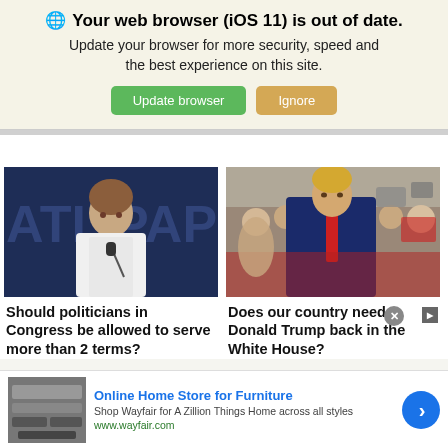🌐 Your web browser (iOS 11) is out of date. Update your browser for more security, speed and the best experience on this site. Update browser | Ignore
[Figure (photo): Photo of Nancy Pelosi speaking at a podium with microphone, text 'ATIO PAP' visible in background]
[Figure (photo): Photo of Donald Trump at a political rally, crowd visible in background]
Should politicians in Congress be allowed to serve more than 2 terms?
Does our country need Donald Trump back in the White House?
Online Home Store for Furniture
Shop Wayfair for A Zillion Things Home across all styles
www.wayfair.com